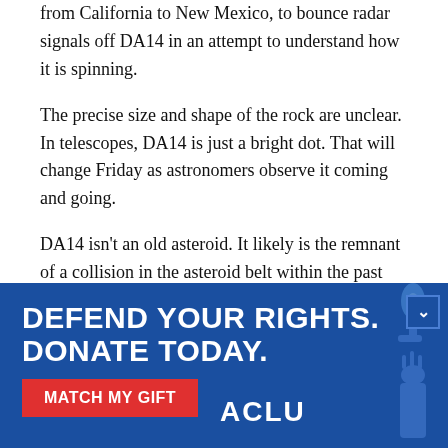from California to New Mexico, to bounce radar signals off DA14 in an attempt to understand how it is spinning.
The precise size and shape of the rock are unclear. In telescopes, DA14 is just a bright dot. That will change Friday as astronomers observe it coming and going.
DA14 isn't an old asteroid. It likely is the remnant of a collision in the asteroid belt within the past few million years, Busch said. Such rocks have limited life spans: As sunlight strikes their uneven surfaces, they spin faster and faster until finally they explode or press along as the
[Figure (infographic): ACLU advertisement banner: dark blue background with text 'DEFEND YOUR RIGHTS. DONATE TODAY.' and a red button reading 'MATCH MY GIFT', ACLU logo, and Statue of Liberty torch image on the right.]